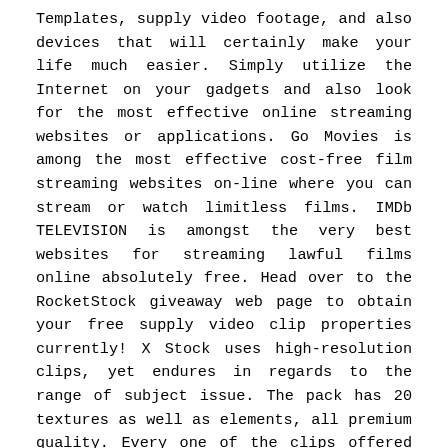Templates, supply video footage, and also devices that will certainly make your life much easier. Simply utilize the Internet on your gadgets and also look for the most effective online streaming websites or applications. Go Movies is among the most effective cost-free film streaming websites on-line where you can stream or watch limitless films. IMDb TELEVISION is amongst the very best websites for streaming lawful films online absolutely free. Head over to the RocketStock giveaway web page to obtain your free supply video clip properties currently! X Stock uses high-resolution clips, yet endures in regards to the range of subject issue. The pack has 20 textures as well as elements, all premium quality. Every one of the clips offered from Pexels Videos is cost-free, great interpretation, and also readily available under the Creative Commons Zero (CC0) permit.